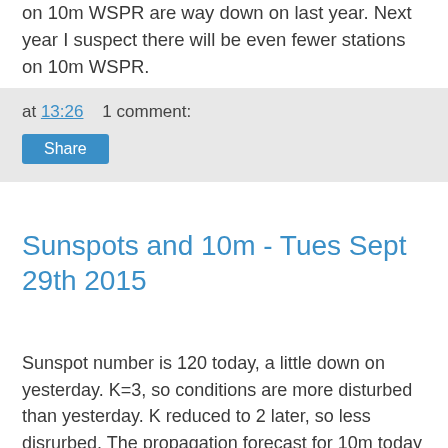on 10m WSPR are way down on last year. Next year I suspect there will be even fewer stations on 10m WSPR.
at 13:26   1 comment:
Share
Sunspots and 10m - Tues Sept 29th 2015
Sunspot number is 120 today, a little down on yesterday. K=3, so conditions are more disturbed than yesterday. K reduced to 2 later, so less disrurbed. The propagation forecast for 10m today is "fair" again, although I remain skeptical about 10m WSPR spots from North and South America.
In recent days the 10m band has been good with Africans and South Americans worked on CW.  On WSPR my 500mW beacon has only been spotted in North America on a couple this reasons for which indicates a positive 10m all